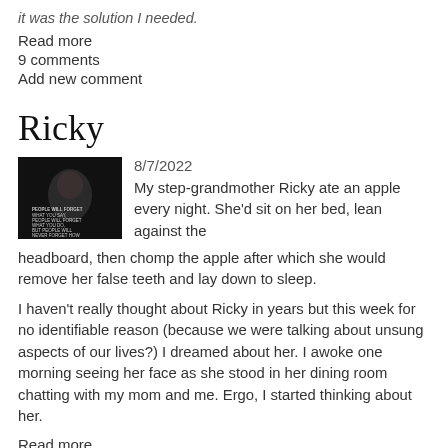it was the solution I needed.
Read more
9 comments
Add new comment
Ricky
[Figure (photo): Dark background image with a person and overlaid text quote]
8/7/2022
My step-grandmother Ricky ate an apple every night. She'd sit on her bed, lean against the headboard, then chomp the apple after which she would remove her false teeth and lay down to sleep.
I haven't really thought about Ricky in years but this week for no identifiable reason (because we were talking about unsung aspects of our lives?) I dreamed about her. I awoke one morning seeing her face as she stood in her dining room chatting with my mom and me. Ergo, I started thinking about her.
Read more
9 comments